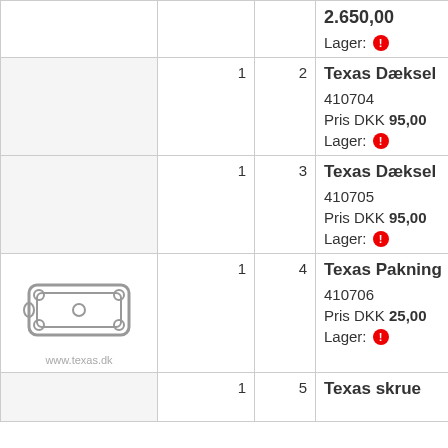| Image | Qty | No | Product Info |
| --- | --- | --- | --- |
|  | 1 | 2 | Texas Dæksel
410704
Pris DKK 95,00
Lager: ! |
|  | 1 | 3 | Texas Dæksel
410705
Pris DKK 95,00
Lager: ! |
| [gasket image] www.texas.dk | 1 | 4 | Texas Pakning
410706
Pris DKK 25,00
Lager: ! |
|  | 1 | 5 | Texas skrue |